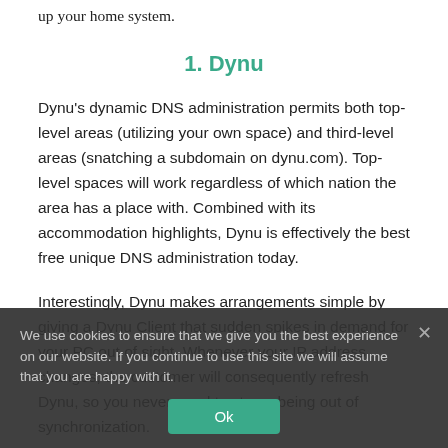up your home system.
1. Dynu
Dynu's dynamic DNS administration permits both top-level areas (utilizing your own space) and third-level areas (snatching a subdomain on dynu.com). Top-level spaces will work regardless of which nation the area has a place with. Combined with its accommodation highlights, Dynu is effectively the best free unique DNS administration today.
Interestingly, Dynu makes arrangements simple by giving a Dynu Client that sudden spikes in demand for your PC out of sight. Whenever your IP address changes, the customer will consequently refresh Dynu, so you never need to stress being out of synchronization.
Free records can have up to 4 subdomains. Move up to a
We use cookies to ensure that we give you the best experience on our website. If you continue to use this site we will assume that you are happy with it.